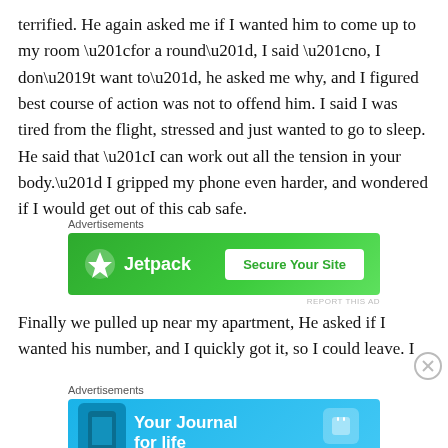terrified. He again asked me if I wanted him to come up to my room “for a round”, I said “no, I don’t want to”, he asked me why, and I figured best course of action was not to offend him. I said I was tired from the flight, stressed and just wanted to go to sleep. He said that “I can work out all the tension in your body.” I gripped my phone even harder, and wondered if I would get out of this cab safe.
[Figure (screenshot): Jetpack advertisement banner with green background, Jetpack logo and 'Secure Your Site' button]
Finally we pulled up near my apartment, He asked if I wanted his number, and I quickly got it, so I could leave. I
[Figure (screenshot): Day One 'Your Journal for life' advertisement banner with blue background and phone image]